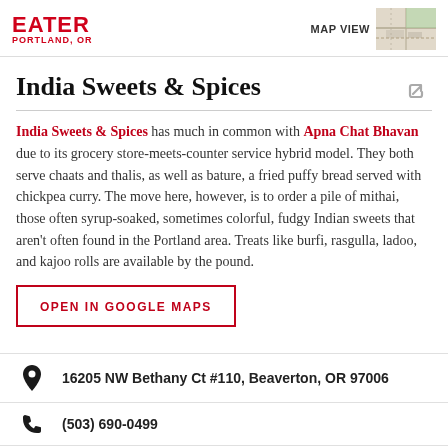EATER PORTLAND, OR
India Sweets & Spices
India Sweets & Spices has much in common with Apna Chat Bhavan due to its grocery store-meets-counter service hybrid model. They both serve chaats and thalis, as well as bature, a fried puffy bread served with chickpea curry. The move here, however, is to order a pile of mithai, those often syrup-soaked, sometimes colorful, fudgy Indian sweets that aren't often found in the Portland area. Treats like burfi, rasgulla, ladoo, and kajoo rolls are available by the pound.
OPEN IN GOOGLE MAPS
16205 NW Bethany Ct #110, Beaverton, OR 97006
(503) 690-0499
Visit Website